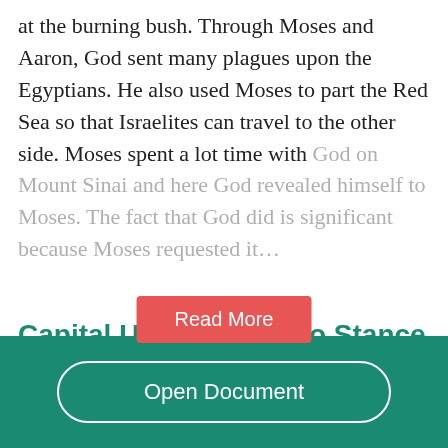at the burning bush. Through Moses and Aaron, God sent many plagues upon the Egyptians. He also used Moses to part the Red Sea so that Israelites can travel to the other side. Moses spent a lot time with God on Mount Sinai and here God revealed himself to Moses. The fact that God did is significant because Moses requested it…
[Figure (other): Red 'Read More' button overlay on faded text]
Capital Unishment. Pro Stance
Open Document